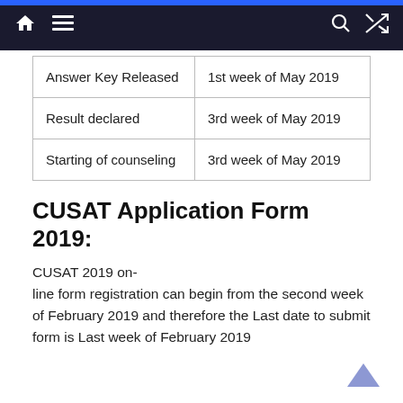Navigation bar with home, menu, search, and shuffle icons
| Answer Key Released | 1st week of May 2019 |
| Result declared | 3rd week of May 2019 |
| Starting of counseling | 3rd week of May 2019 |
CUSAT Application Form 2019:
CUSAT 2019 on-line form registration can begin from the second week of February 2019 and therefore the Last date to submit form is Last week of February 2019